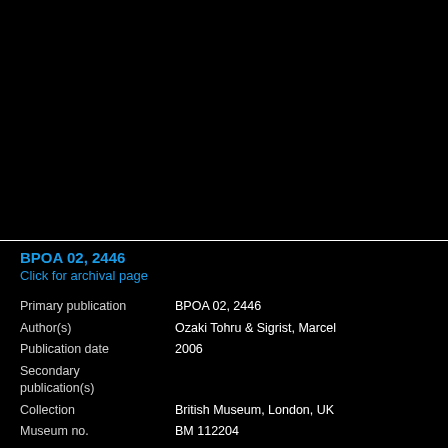[Figure (photo): Black image area showing a museum artifact or cuneiform tablet (content not visible due to dark image)]
BPOA 02, 2446
Click for archival page
| Primary publication | BPOA 02, 2446 |
| Author(s) | Ozaki Tohru & Sigrist, Marcel |
| Publication date | 2006 |
| Secondary publication(s) |  |
| Collection | British Museum, London, UK |
| Museum no. | BM 112204 |
| Accession no. |  |
| Provenience | Umma (mod. Tell Jokha) |